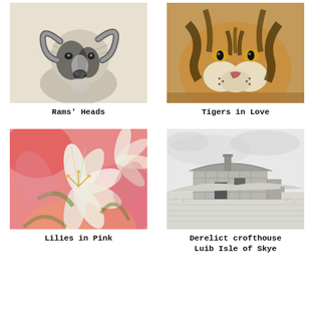[Figure (illustration): Pencil/charcoal drawing of a ram's head with curved horns, black and white with shading on a light background]
Rams' Heads
[Figure (illustration): Color drawing or painting of a tiger facing the viewer, warm golden-brown tones with dark stripes, close-up portrait]
Tigers in Love
[Figure (illustration): Colored pencil or watercolor drawing of lilies in shades of pink, white, and green, vibrant floral composition]
Lilies in Pink
[Figure (illustration): Pencil sketch of a derelict stone crofthouse in a landscape, Isle of Skye, grey tones, detailed stippling and hatching]
Derelict crofthouse
Luib Isle of Skye